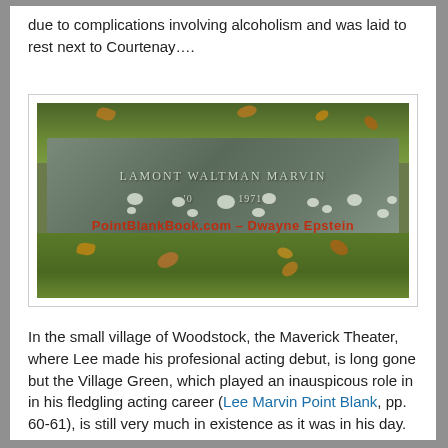due to complications involving alcoholism and was laid to rest next to Courtenay….
[Figure (photo): Photograph of a flat grave marker for Lamont Waltman Marvin, inscribed with name and dates, with small pebbles placed on top, surrounded by grass and fallen leaves. Watermark reads: PointBlankBook.com – Dwayne Epstein]
In the small village of Woodstock, the Maverick Theater, where Lee made his profesional acting debut, is long gone but the Village Green, which played an inauspicous role in in his fledgling acting career (Lee Marvin Point Blank, pp. 60-61), is still very much in existence as it was in his day. It would not be hard to imagine him here as he was described in the book….